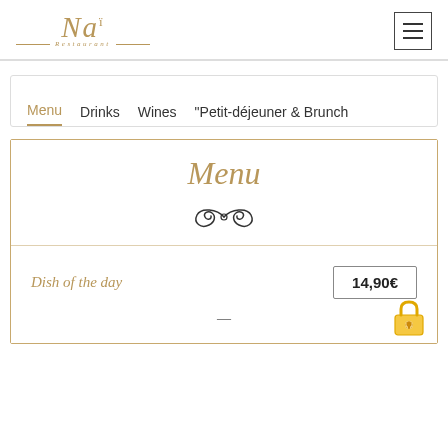[Figure (logo): Nai restaurant logo with italic script text and decorative lines, in gold/tan color]
Nai Restaurant
Menu | Drinks | Wines | "Petit-déjeuner & Brunch
Menu
Dish of the day
14,90€
—